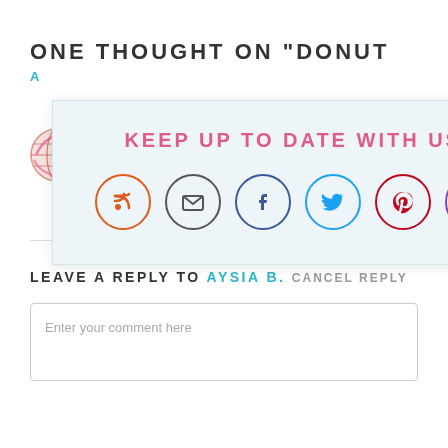ONE THOUGHT ON “DONUT
thinking of doing a teddy bear theme for Tate’s first birthday!
Loading...
LEAVE A REPLY TO AYSIA B. CANCEL REPLY
Enter your comment here
[Figure (infographic): Social media popup overlay with pink bold header text 'KEEP UP TO DATE WITH US!' and six circular social media icons: RSS (orange), Email (dark), Facebook (blue), Twitter (blue), Pinterest (red), Instagram (purple). A close button (X in dark circle) appears at top right corner of overlay.]